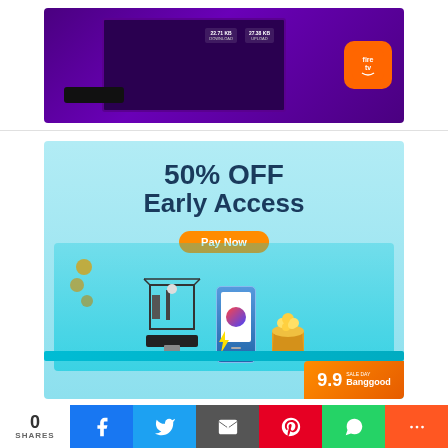[Figure (screenshot): Amazon Fire TV app or VPN app screenshot showing a TV with a streaming interface and Fire TV remote dongle, with the Fire TV orange app icon badge in the corner. Purple/dark background.]
[Figure (illustration): Banggood 9.9 sale advertisement with light blue background. Text reads '50% OFF Early Access' with an orange 'Pay Now' button. Features a 3D printer, smartphone, and snack products on a teal platform. Banggood orange logo badge in lower right corner.]
0 SHARES | Facebook | Twitter | Email | Pinterest | WhatsApp | More